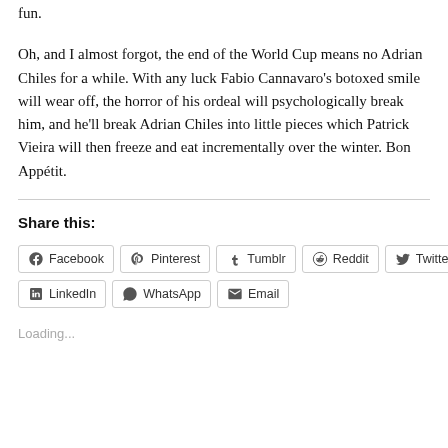fun.
Oh, and I almost forgot, the end of the World Cup means no Adrian Chiles for a while. With any luck Fabio Cannavaro's botoxed smile will wear off, the horror of his ordeal will psychologically break him, and he'll break Adrian Chiles into little pieces which Patrick Vieira will then freeze and eat incrementally over the winter. Bon Appétit.
Share this:
Facebook  Pinterest  Tumblr  Reddit  Twitter  LinkedIn  WhatsApp  Email
Loading...